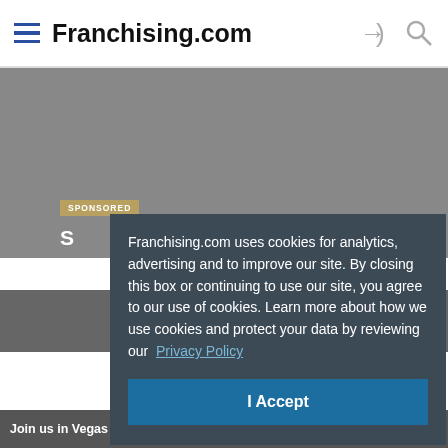Franchising.com
[Figure (screenshot): Gray background image area with a SPONSORED badge and partial dark overlay with white text partially hidden behind cookie dialog]
Franchising.com uses cookies for analytics, advertising and to improve our site. By closing this box or continuing to use our site, you agree to our use of cookies. Learn more about how we use cookies and protect your data by reviewing our Privacy Policy
I Accept
Join us in Vegas in April for the 2025 Mc